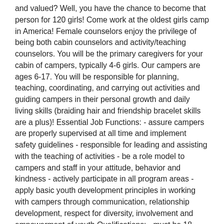and valued? Well, you have the chance to become that person for 120 girls! Come work at the oldest girls camp in America! Female counselors enjoy the privilege of being both cabin counselors and activity/teaching counselors. You will be the primary caregivers for your cabin of campers, typically 4-6 girls. Our campers are ages 6-17. You will be responsible for planning, teaching, coordinating, and carrying out activities and guiding campers in their personal growth and daily living skills (braiding hair and friendship bracelet skills are a plus)! Essential Job Functions: - assure campers are properly supervised at all time and implement safety guidelines - responsible for leading and assisting with the teaching of activities - be a role model to campers and staff in your attitude, behavior and kindness - actively participate in all program areas - apply basic youth development principles in working with campers through communication, relationship development, respect for diversity, involvement and empowerment of youth Qualifications: - must be 18 years of age or higher and high school graduate - must be able to obtain or become certified in First Aid/CPR (course provided at camp during our staff orientation) - ability to interact with all age levels - must submit health history form prior to first day of work